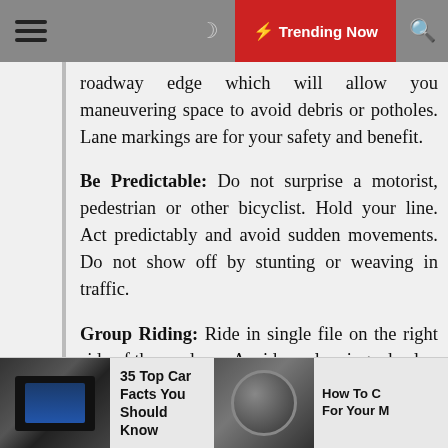≡  ☽  ⚡ Trending Now  🔍
roadway edge which will allow you maneuvering space to avoid debris or potholes.  Lane markings are for your safety and benefit.
Be Predictable:  Do not surprise a motorist, pedestrian or other bicyclist.  Hold your line.  Act predictably and avoid sudden movements.  Do not show off by stunting or weaving in traffic.
Group Riding:  Ride in single file on the right side of the roadway.  Avoid overlapping wheels.
Use Arm Signals:  Signaling
35 Top Car Facts You Should Know    How To C For Your M